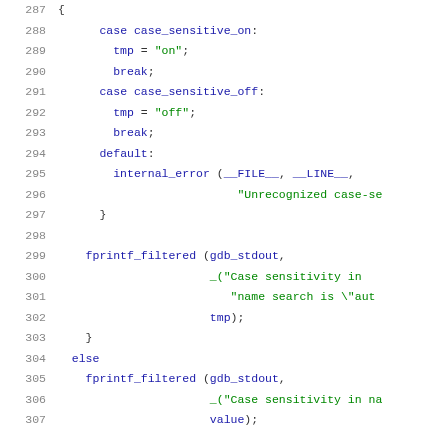Source code listing lines 287-307, showing C code with case statements for case_sensitive_on and case_sensitive_off, default internal_error, fprintf_filtered calls, and else branch.